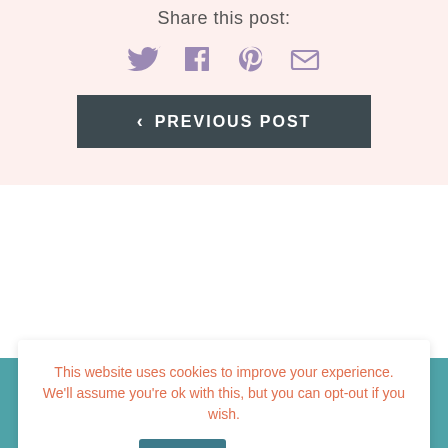Share this post:
[Figure (infographic): Social sharing icons: Twitter (bird), Facebook (f), Pinterest (P), Email (envelope) in purple/mauve color]
< PREVIOUS POST
This website uses cookies to improve your experience. We'll assume you're ok with this, but you can opt-out if you wish.
Accept
Read More
Leave a Comment
Leave a Reply